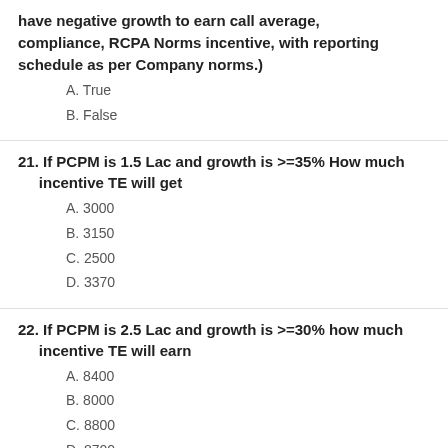have negative growth to earn call average, compliance, RCPA Norms incentive, with reporting schedule as per Company norms.)
A. True
B. False
21. If PCPM is 1.5 Lac and growth is >=35% How much incentive TE will get
A. 3000
B. 3150
C. 2500
D. 3370
22. If PCPM is 2.5 Lac and growth is >=30% how much incentive TE will earn
A. 8400
B. 8000
C. 8800
D. 8700